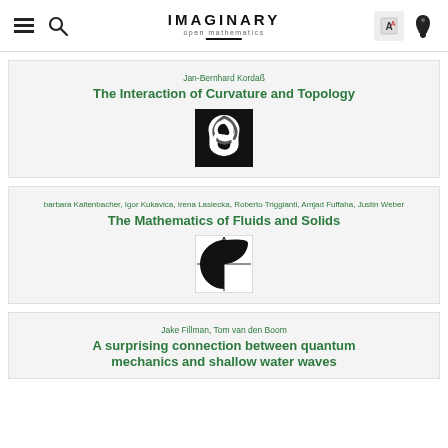IMAGINARY open mathematics
Jan-Bernhard Kordaß
The Interaction of Curvature and Topology
[Figure (illustration): Black square with white trefoil knot symbol]
barbara Kaltenbacher, Igor Kukavica, Irena Lasiecka, Roberto Triggianti, Amjad Fuffaha, Justin Weber
The Mathematics of Fluids and Solids
[Figure (illustration): Square diagram showing a mathematical figure with black curved shapes on white background with axes]
Jake Fillman, Tom van den Boom
A surprising connection between quantum mechanics and shallow water waves